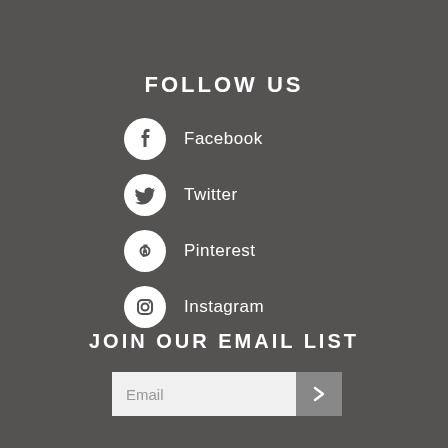FOLLOW US
Facebook
Twitter
Pinterest
Instagram
JOIN OUR EMAIL LIST
Email